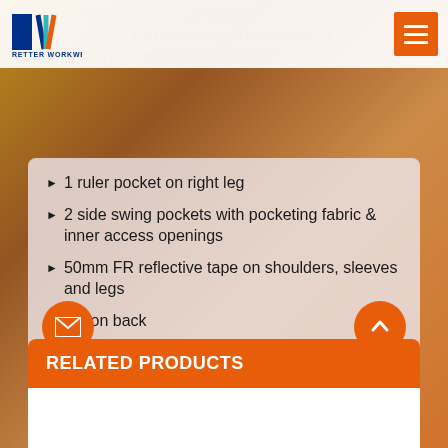[Figure (logo): Retter Workwear logo with RW initials in blue/teal/red and text RETTER WORKWEAR below]
1 ruler pocket on right leg
2 side swing pockets with pocketing fabric & inner access openings
50mm FR reflective tape on shoulders, sleeves and legs
Action back
Side elasticated waist
Bartack at all stress points
RELATED PRODUCTS